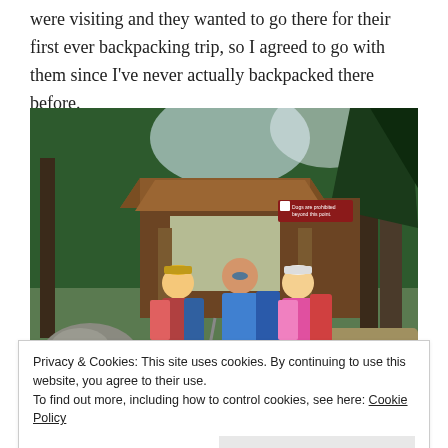were visiting and they wanted to go there for their first ever backpacking trip, so I agreed to go with them since I've never actually backpacked there before.
[Figure (photo): Three hikers with backpacks standing in front of a trailhead kiosk/shelter with signs including 'Dogs are prohibited beyond this point'. Surrounded by tall trees.]
Privacy & Cookies: This site uses cookies. By continuing to use this website, you agree to their use.
To find out more, including how to control cookies, see here: Cookie Policy
visit the park at all without either a day pass or an